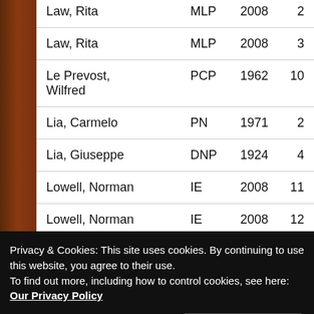| Name | Party | Year | District |
| --- | --- | --- | --- |
| Law, Rita | MLP | 2008 | 2 |
| Law, Rita | MLP | 2008 | 3 |
| Le Prevost, Wilfred | PCP | 1962 | 10 |
| Lia, Carmelo | PN | 1971 | 2 |
| Lia, Giuseppe | DNP | 1924 | 4 |
| Lowell, Norman | IE | 2008 | 11 |
| Lowell, Norman | IE | 2008 | 12 |
| Lubrano, Goffredo | UPM | 1921 | 5 |
| Magri Naudi | PN | 1998 | 8 |
Privacy & Cookies: This site uses cookies. By continuing to use this website, you agree to their use. To find out more, including how to control cookies, see here: Our Privacy Policy